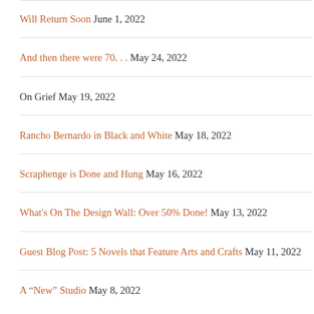Will Return Soon June 1, 2022
And then there were 70… May 24, 2022
On Grief May 19, 2022
Rancho Bernardo in Black and White May 18, 2022
Scraphenge is Done and Hung May 16, 2022
What's On The Design Wall: Over 50% Done! May 13, 2022
Guest Blog Post: 5 Novels that Feature Arts and Crafts May 11, 2022
A “New” Studio May 8, 2022